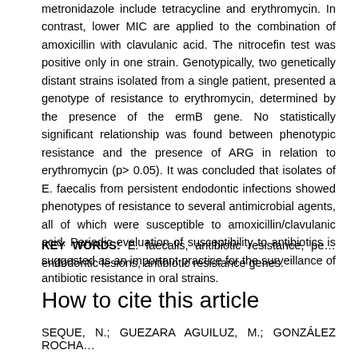metronidazole include tetracycline and erythromycin. In contrast, lower MIC are applied to the combination of amoxicillin with clavulanic acid. The nitrocefin test was positive only in one strain. Genotypically, two genetically distant strains isolated from a single patient, presented a genotype of resistance to erythromycin, determined by the presence of the ermB gene. No statistically significant relationship was found between phenotypic resistance and the presence of ARG in relation to erythromycin (p> 0.05). It was concluded that isolates of E. faecalis from persistent endodontic infections showed phenotypes of resistance to several antimicrobial agents, all of which were susceptible to amoxicillin/clavulanic acid. Periodic evaluation of susceptibility to antibiotics is suggested as an important practice for the surveillance of antibiotic resistance in oral strains.
KEY WORDS: E. faecalis, antibiotic resistance, persistent endodontic lesions, antibiotic resistance genes.
How to cite this article
SEQUE, N.; GUEZARA AGUILUZ, M.; GONZÁLEZ ROCHA...